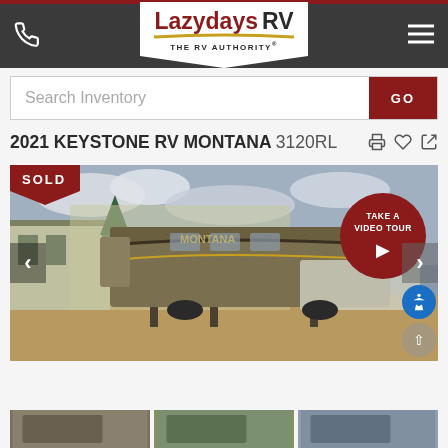Lazydays RV - THE RV AUTHORITY
Search Inventory GO
2021 KEYSTONE RV MONTANA 3120RL
[Figure (photo): 2021 Keystone RV Montana 3120RL fifth wheel trailer parked at a dealership lot with a SOLD badge and Take a Video Tour button overlay]
[Figure (photo): Thumbnail images of the same RV from different angles]